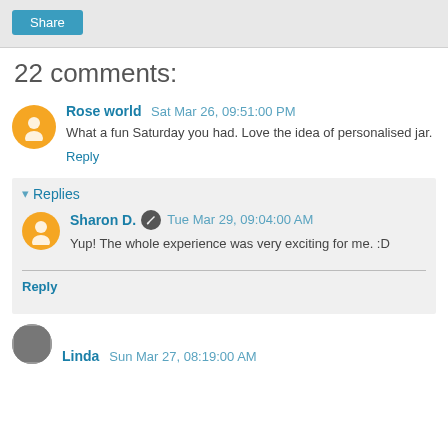Share
22 comments:
Rose world  Sat Mar 26, 09:51:00 PM
What a fun Saturday you had. Love the idea of personalised jar.
Reply
▾ Replies
Sharon D.  Tue Mar 29, 09:04:00 AM
Yup! The whole experience was very exciting for me. :D
Reply
Linda  Sun Mar 27, 08:19:00 AM